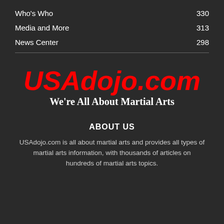Who's Who  330
Media and More  313
News Center  298
[Figure (logo): USAdojo.com logo in red bold italic text with tagline 'We're All About Martial Arts' in white serif bold text below]
ABOUT US
USAdojo.com is all about martial arts and provides all types of martial arts information, with thousands of articles on hundreds of martial arts topics.